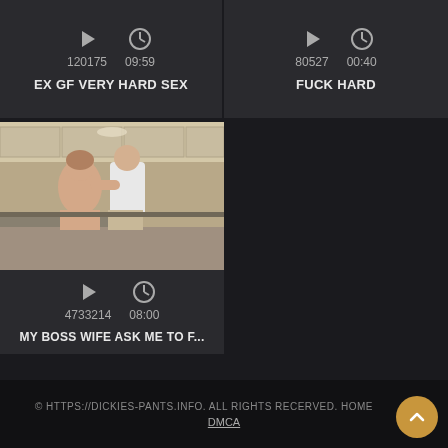[Figure (screenshot): Video card: play icon, clock icon, 120175 views, 09:59 duration, title EX GF VERY HARD SEX]
EX GF VERY HARD SEX
[Figure (screenshot): Video card: play icon, clock icon, 80527 views, 00:40 duration, title FUCK HARD]
FUCK HARD
[Figure (photo): Video thumbnail showing two people in a kitchen scene]
MY BOSS WIFE ASK ME TO F...
© HTTPS://DICKIES-PANTS.INFO. ALL RIGHTS RECERVED. HOME DMCA